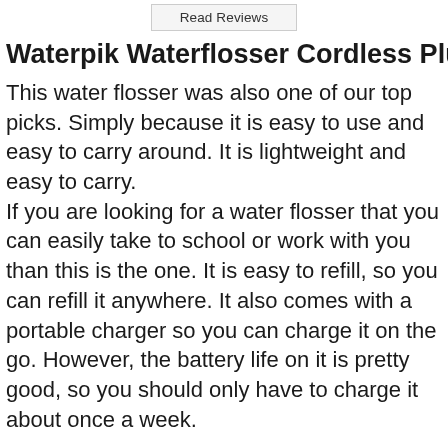Read Reviews
Waterpik Waterflosser Cordless Plus
This water flosser was also one of our top picks. Simply because it is easy to use and easy to carry around. It is lightweight and easy to carry.
If you are looking for a water flosser that you can easily take to school or work with you than this is the one. It is easy to refill, so you can refill it anywhere. It also comes with a portable charger so you can charge it on the go. However, the battery life on it is pretty good, so you should only have to charge it about once a week.